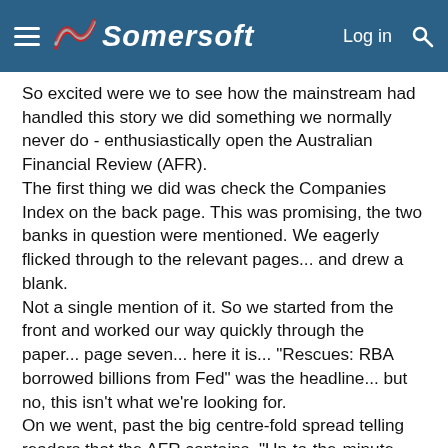Somersoft
So excited were we to see how the mainstream had handled this story we did something we normally never do - enthusiastically open the Australian Financial Review (AFR). The first thing we did was check the Companies Index on the back page. This was promising, the two banks in question were mentioned. We eagerly flicked through to the relevant pages... and drew a blank. Not a single mention of it. So we started from the front and worked our way quickly through the paper... page seven... here it is... "Rescues: RBA borrowed billions from Fed" was the headline... but no, this isn't what we're looking for. On we went, past the big centre-fold spread telling readers that the AFR contains, "Up-to-the-minute market information, news, commentary and expert analysis... All from just $44 per month".